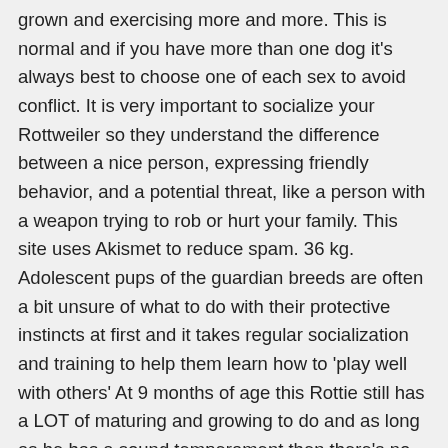grown and exercising more and more. This is normal and if you have more than one dog it's always best to choose one of each sex to avoid conflict. It is very important to socialize your Rottweiler so they understand the difference between a nice person, expressing friendly behavior, and a potential threat, like a person with a weapon trying to rob or hurt your family. This site uses Akismet to reduce spam. 36 kg. Adolescent pups of the guardian breeds are often a bit unsure of what to do with their protective instincts at first and it takes regular socialization and training to help them learn how to 'play well with others' At 9 months of age this Rottie still has a LOT of maturing and growing to do and as long as he has a sound temperament then there's no reason why he can't learn acceptable social behavior even if he never learns to LOVE other adult male dogs he doesn't know. My dog has never showed any sign of aggression tward him befote i also have 2 smaller female dogs that my rott lives with and he doesnt show them any aggressive behavior. I have read books on rottweiler training and I understand it varies from dog to dog but do you think at 9 months you could socialize him and discipline him to be non